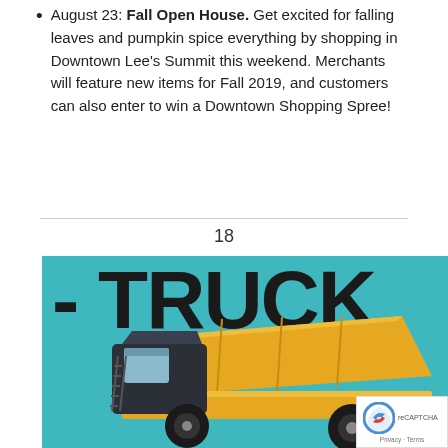August 23: Fall Open House. Get excited for falling leaves and pumpkin spice everything by shopping in Downtown Lee’s Summit this weekend. Merchants will feature new items for Fall 2019, and customers can also enter to win a Downtown Shopping Spree!
18
[Figure (illustration): Illustration of a yellow dump truck on a teal background with large bold text reading 'TRUCK' above it. The truck has a raised bed and large black wheels.]